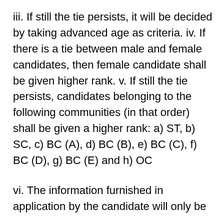iii. If still the tie persists, it will be decided by taking advanced age as criteria. iv. If there is a tie between male and female candidates, then female candidate shall be given higher rank. v. If still the tie persists, candidates belonging to the following communities (in that order) shall be given a higher rank: a) ST, b) SC, c) BC (A), d) BC (B), e) BC (C), f) BC (D), g) BC (E) and h) OC
vi. The information furnished in application by the candidate will only be